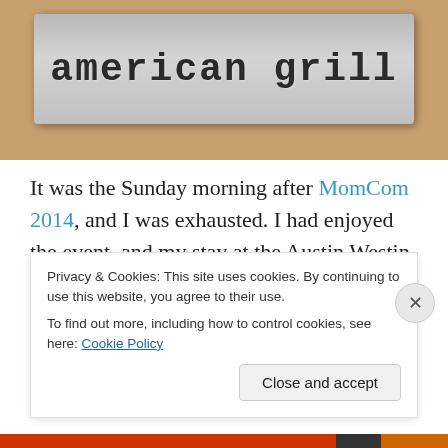[Figure (photo): Photo of a metal sign reading 'american grill' on a wooden surface, partially cropped at top]
It was the Sunday morning after MomCom 2014, and I was exhausted. I had enjoyed the event, and my stay at the Austin Westin Hotel in the Domain –and I wasn't quite ready to head back to the "real world."  After sleeping in, and skipping breakfast, brunch was definitely on my mind. But where?
Privacy & Cookies: This site uses cookies. By continuing to use this website, you agree to their use.
To find out more, including how to control cookies, see here: Cookie Policy